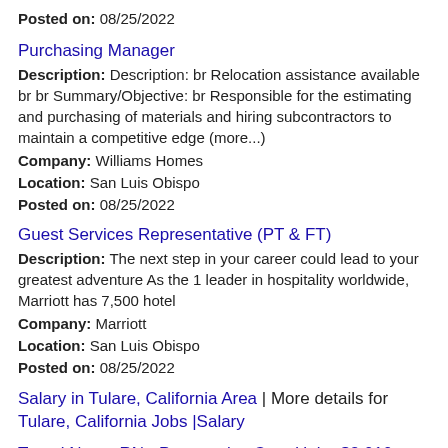Posted on: 08/25/2022
Purchasing Manager
Description: Description: br Relocation assistance available br br Summary/Objective: br Responsible for the estimating and purchasing of materials and hiring subcontractors to maintain a competitive edge (more...)
Company: Williams Homes
Location: San Luis Obispo
Posted on: 08/25/2022
Guest Services Representative (PT & FT)
Description: The next step in your career could lead to your greatest adventure As the 1 leader in hospitality worldwide, Marriott has 7,500 hotel
Company: Marriott
Location: San Luis Obispo
Posted on: 08/25/2022
Salary in Tulare, California Area | More details for Tulare, California Jobs |Salary
Travel Nurse RN - Progressive Care Unit - $3,010 per week
Description: Core Medical Group is seeking a travel nurse RN